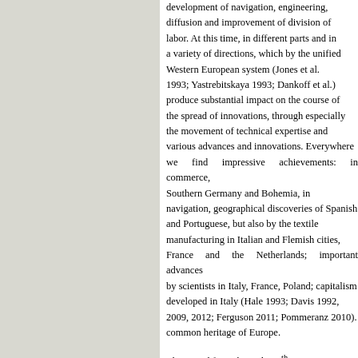development of navigation, engi… diffusion and improvement of d… labor. At this time, in different pa… a variety of directions, which by… Western European system (Jo… 1993; Yastrebitskaya 1993; Da… produce substantial impact on t… the spread of innovations, throu… the movement of technical exp… various advances and innovatio… we find impressive achievemen… Southern Germany and Boh… navigation, geographical disco… and Portuguese, but also by th… manufacturing in Italian and Fle… France and the Netherlands; im… by scientists in Italy, France, Po… developed in Italy (Hale 1993; D… 2009, 2012; Ferguson 2011; Po… common heritage of Europe.
The period from the early 17th middle phase, when one could… and the capitalist economy with… of labor. This is the age of t… hegemony of Spain and Portuga… of shipbuilding, mechanized p…